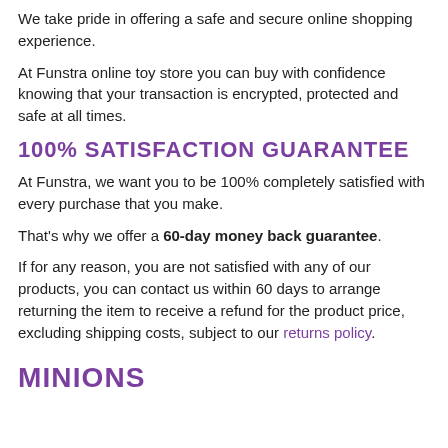We take pride in offering a safe and secure online shopping experience.
At Funstra online toy store you can buy with confidence knowing that your transaction is encrypted, protected and safe at all times.
100% SATISFACTION GUARANTEE
At Funstra, we want you to be 100% completely satisfied with every purchase that you make.
That’s why we offer a 60-day money back guarantee.
If for any reason, you are not satisfied with any of our products, you can contact us within 60 days to arrange returning the item to receive a refund for the product price, excluding shipping costs, subject to our returns policy.
MINIONS